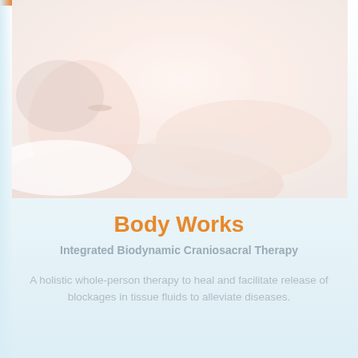[Figure (photo): A woman lying down receiving craniosacral therapy, with a practitioner's hands gently placed on her head/neck area. The image has a soft, washed-out warm pinkish tone.]
Body Works
Integrated Biodynamic Craniosacral Therapy
A holistic whole-person therapy to heal and facilitate release of blockages in tissue fluids to alleviate diseases.